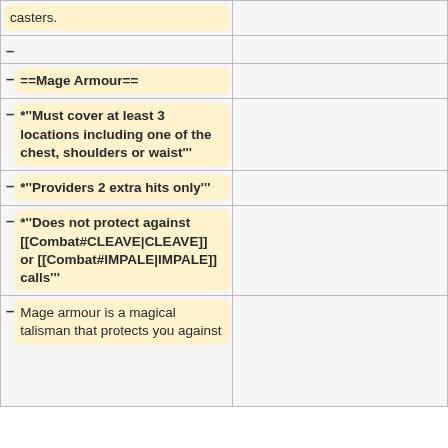| casters. |  |
| – |  |
| – ==Mage Armour== |  |
| – *'''Must cover at least 3 locations including one of the chest, shoulders or waist''' |  |
| – *'''Providers 2 extra hits only''' |  |
| – *'''Does not protect against [[Combat#CLEAVE|CLEAVE]] or [[Combat#IMPALE|IMPALE]] calls''' |  |
| – Mage armour is a magical talisman that protects you against... |  |